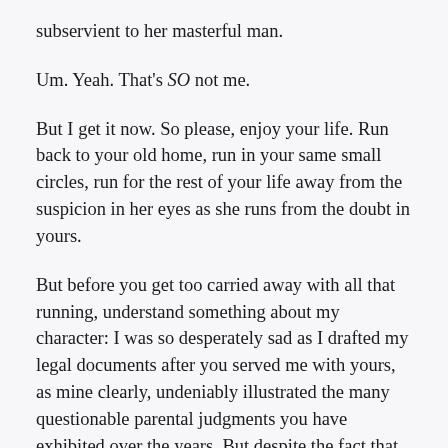subservient to her masterful man.
Um. Yeah. That's SO not me.
But I get it now. So please, enjoy your life. Run back to your old home, run in your same small circles, run for the rest of your life away from the suspicion in her eyes as she runs from the doubt in yours.
But before you get too carried away with all that running, understand something about my character: I was so desperately sad as I drafted my legal documents after you served me with yours, as mine clearly, undeniably illustrated the many questionable parental judgments you have exhibited over the years. But despite the fact that much of this content used your own words to illustrate your cavalier disregard for my concerns,